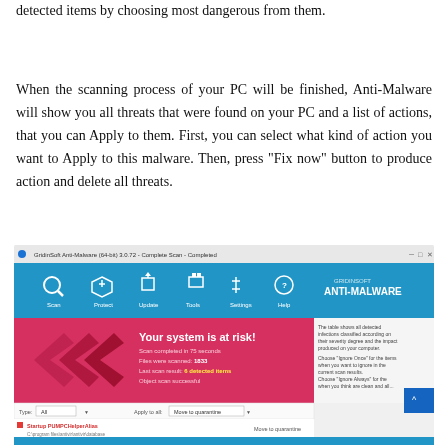detected items by choosing most dangerous from them.
When the scanning process of your PC will be finished, Anti-Malware will show you all threats that were found on your PC and a list of actions, that you can Apply to them. First, you can select what kind of action you want to Apply to this malware. Then, press “Fix now” button to produce action and delete all threats.
[Figure (screenshot): Screenshot of GridinSoft Anti-Malware (64-bit) 3.0.72 Complete Scan Completed window showing 'Your system is at risk!' message with scan results: 1833 files scanned, 6 detected items, and a list of threats with quarantine options.]